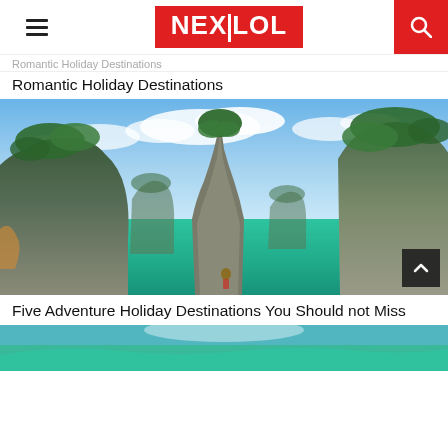NEXTLOL (navigation header with hamburger menu, logo, and search icon)
Romantic Holiday Destinations
[Figure (photo): Scenic tropical seascape with tall limestone karst rock formations rising from turquoise-green water under a blue sky with white clouds. A person wades in the water in the foreground; longtail boats visible in the background. Likely Phang Nga Bay or Krabi, Thailand.]
Five Adventure Holiday Destinations You Should not Miss
[Figure (photo): Partial view of another tropical destination photo at the bottom of the page.]